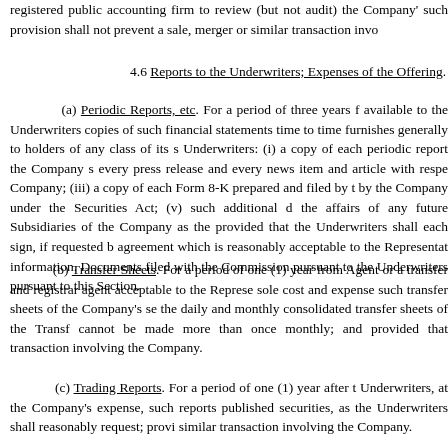registered public accounting firm to review (but not audit) the Company's such provision shall not prevent a sale, merger or similar transaction invo...
4.6 Reports to the Underwriters; Expenses of the Offering.
(a) Periodic Reports, etc. For a period of three years f... available to the Underwriters copies of such financial statements... time to time furnishes generally to holders of any class of its s... Underwriters: (i) a copy of each periodic report the Company s... every press release and every news item and article with respe... Company; (iii) a copy of each Form 8-K prepared and filed by t... by the Company under the Securities Act; (v) such additional d... the affairs of any future Subsidiaries of the Company as the ... provided that the Underwriters shall each sign, if requested b... agreement which is reasonably acceptable to the Representat... information. Documents filed with the Commission pursuant to ... the Underwriters pursuant to this Section.
(b) Transfer Sheets. For a period of one (1) year from... Agent or a transfer and registrar agent acceptable to the Represe... sole cost and expense such transfer sheets of the Company's se... the daily and monthly consolidated transfer sheets of the Transf... cannot be made more than once monthly; and provided that ... transaction involving the Company.
(c) Trading Reports. For a period of one (1) year after t... Underwriters, at the Company's expense, such reports published... securities, as the Underwriters shall reasonably request; provi... similar transaction involving the Company.